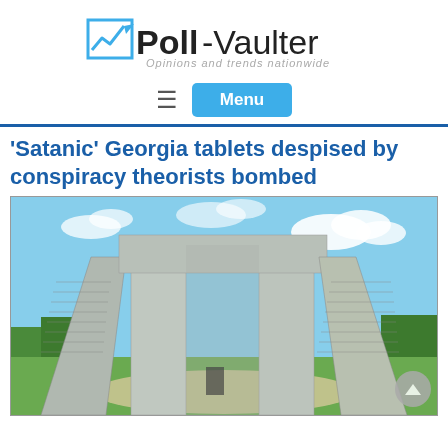[Figure (logo): Poll-Vaulter logo with upward arrow chart icon and tagline 'Opinions and trends nationwide']
[Figure (other): Navigation bar with hamburger menu icon and blue 'Menu' button]
'Satanic' Georgia tablets despised by conspiracy theorists bombed
[Figure (photo): Photograph of the Georgia Guidestones monument — large granite stone slabs arranged in a cross pattern with inscriptions, set against a blue sky with clouds and green landscape in background]